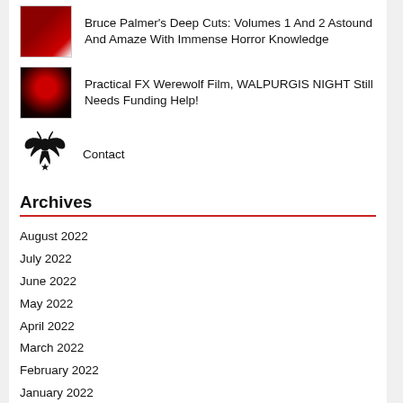Bruce Palmer's Deep Cuts: Volumes 1 And 2 Astound And Amaze With Immense Horror Knowledge
Practical FX Werewolf Film, WALPURGIS NIGHT Still Needs Funding Help!
Contact
Archives
August 2022
July 2022
June 2022
May 2022
April 2022
March 2022
February 2022
January 2022